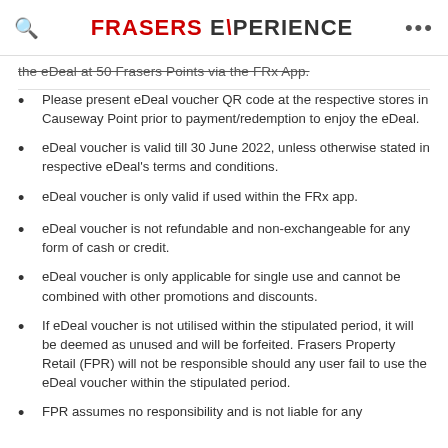FRASERS EXPERIENCE
the eDeal at 50 Frasers Points via the FRx App.
Please present eDeal voucher QR code at the respective stores in Causeway Point prior to payment/redemption to enjoy the eDeal.
eDeal voucher is valid till 30 June 2022, unless otherwise stated in respective eDeal's terms and conditions.
eDeal voucher is only valid if used within the FRx app.
eDeal voucher is not refundable and non-exchangeable for any form of cash or credit.
eDeal voucher is only applicable for single use and cannot be combined with other promotions and discounts.
If eDeal voucher is not utilised within the stipulated period, it will be deemed as unused and will be forfeited. Frasers Property Retail (FPR) will not be responsible should any user fail to use the eDeal voucher within the stipulated period.
FPR assumes no responsibility and is not liable for any